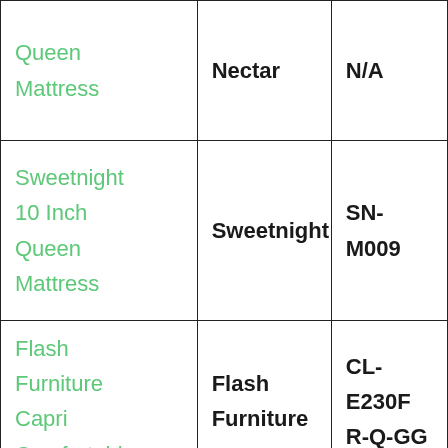| Queen
Mattress | Nectar | N/A |
| Sweetnight
10 Inch
Queen
Mattress | Sweetnight | SN-M009 |
| Flash
Furniture
Capri
Comfortable | Flash
Furniture | CL-E230F
R-Q-GG |